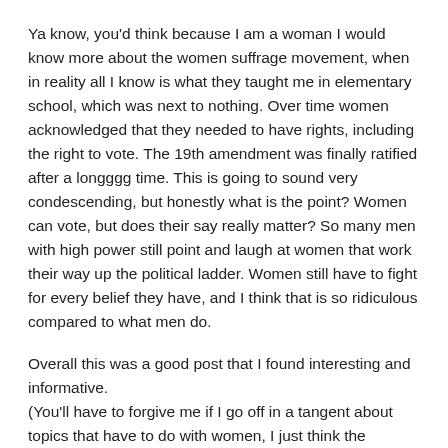Ya know, you'd think because I am a woman I would know more about the women suffrage movement, when in reality all I know is what they taught me in elementary school, which was next to nothing. Over time women acknowledged that they needed to have rights, including the right to vote. The 19th amendment was finally ratified after a longggg time. This is going to sound very condescending, but honestly what is the point? Women can vote, but does their say really matter? So many men with high power still point and laugh at women that work their way up the political ladder. Women still have to fight for every belief they have, and I think that is so ridiculous compared to what men do.
Overall this was a good post that I found interesting and informative.
(You'll have to forgive me if I go off in a tangent about topics that have to do with women, I just think the inequality is still so high and unacknowledged by our current government.)
REPLY